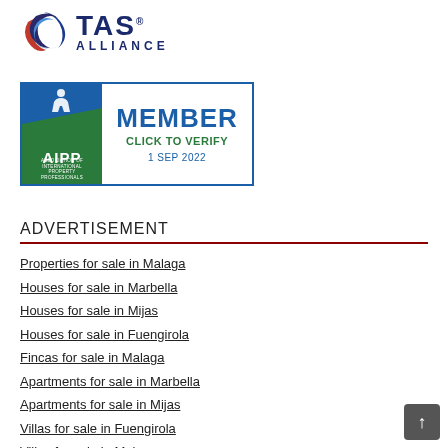[Figure (logo): TAS Alliance logo with circular red/blue swoosh icon and bold blue text TAS ALLIANCE]
[Figure (logo): AIPP Member badge with green/blue logo on left, MEMBER in blue and CLICK TO VERIFY in green, date 1 SEP 2022]
ADVERTISEMENT
Properties for sale in Malaga
Houses for sale in Marbella
Houses for sale in Mijas
Houses for sale in Fuengirola
Fincas for sale in Malaga
Apartments for sale in Marbella
Apartments for sale in Mijas
Villas for sale in Fuengirola
Villas for sale in Malaga